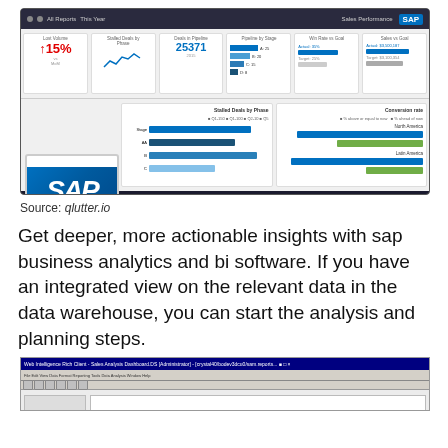[Figure (screenshot): SAP BusinessObjects Sales Performance dashboard showing KPI cards (Lost Volume, Stalled Deals by Phase, Deals in Pipeline, Pipeline by Stage, Win Rate vs Goal, Sales vs Goal) and charts including Stalled Deals by Phase bar chart and Conversion Rate horizontal bar chart, with SAP BusinessObjects logo overlay]
Source: qlutter.io
Get deeper, more actionable insights with sap business analytics and bi software. If you have an integrated view on the relevant data in the data warehouse, you can start the analysis and planning steps.
[Figure (screenshot): Web Intelligence Rich Client Sales Analysis Dashboard application window screenshot showing toolbar and content area]